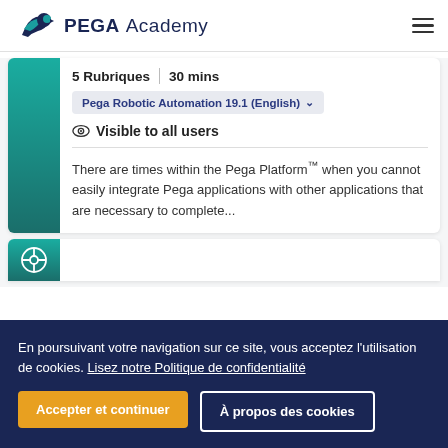PEGA Academy
5 Rubriques | 30 mins
Pega Robotic Automation 19.1 (English)
Visible to all users
There are times within the Pega Platform™ when you cannot easily integrate Pega applications with other applications that are necessary to complete...
En poursuivant votre navigation sur ce site, vous acceptez l'utilisation de cookies. Lisez notre Politique de confidentialité
Accepter et continuer
À propos des cookies